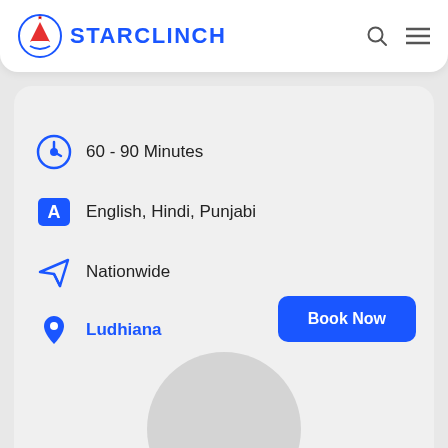STARCLINCH
60 - 90 Minutes
English, Hindi, Punjabi
Nationwide
Ludhiana
[Figure (screenshot): Book Now button in blue]
[Figure (photo): Circular profile image placeholder at bottom]